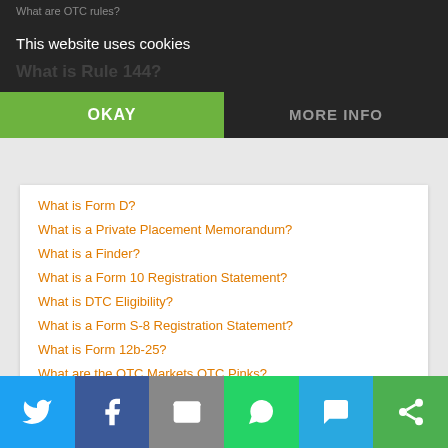This website uses cookies
OKAY
MORE INFO
What is Form D?
What is a Private Placement Memorandum?
What is a Finder?
What is a Form 10 Registration Statement?
What is DTC Eligibility?
What is a Form S-8 Registration Statement?
What is Form 12b-25?
What are the OTC Markets OTC Pinks?
What Is the Regulation SHO Short Seller Rule?
What Is A Confidential Registration Statement?
What Are The OTC Markets?
Twitter | Facebook | Email | WhatsApp | SMS | Share